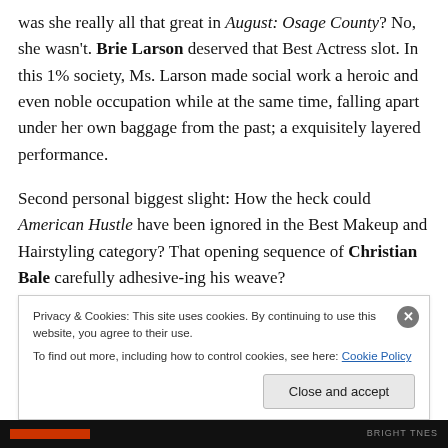was she really all that great in August: Osage County? No, she wasn't. Brie Larson deserved that Best Actress slot. In this 1% society, Ms. Larson made social work a heroic and even noble occupation while at the same time, falling apart under her own baggage from the past; a exquisitely layered performance.
Second personal biggest slight: How the heck could American Hustle have been ignored in the Best Makeup and Hairstyling category? That opening sequence of Christian Bale carefully adhesive-ing his weave?
Privacy & Cookies: This site uses cookies. By continuing to use this website, you agree to their use. To find out more, including how to control cookies, see here: Cookie Policy
Close and accept